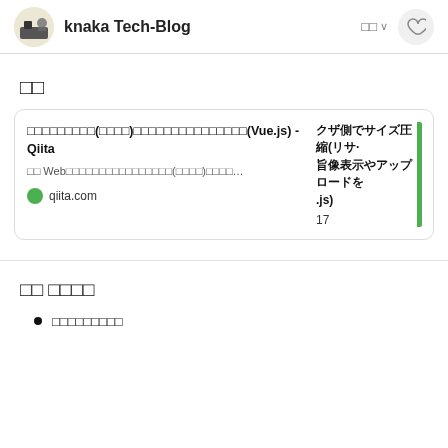knaka Tech-Blog
参考
ブラウザ側でサイズ圧縮(リサイズ)してから画像表示やアップロードを行う方法(Vue.js) - Qiita
画像 Webアプリケーションを作る時に画像のアップロード(投稿)機能を実装する事があると思います 画像...
qiita.com   17
目次 もくじ
はじめにの前に